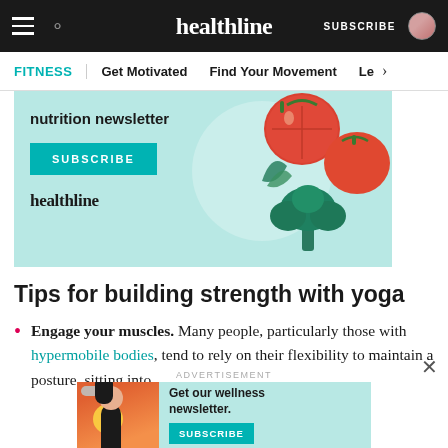healthline — SUBSCRIBE
FITNESS | Get Motivated   Find Your Movement   Le >
[Figure (illustration): Healthline nutrition newsletter advertisement with tomatoes, broccoli, and leafy greens illustration on teal background with SUBSCRIBE button]
Tips for building strength with yoga
Engage your muscles. Many people, particularly those with hypermobile bodies, tend to rely on their flexibility to maintain a posture, sitting into
[Figure (illustration): Bottom advertisement: Get our wellness newsletter. SUBSCRIBE button on teal background with illustrated woman graphic]